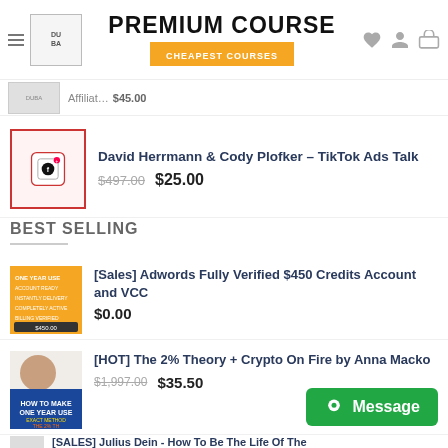PREMIUM COURSE / CHEAPEST COURSES
Affiliate Marketing... $45.00
David Herrmann & Cody Plofker – TikTok Ads Talk $497.00 $25.00
BEST SELLING
[Sales] Adwords Fully Verified $450 Credits Account and VCC $0.00
[HOT] The 2% Theory + Crypto On Fire by Anna Macko $1,997.00 $35.50
[SALES] Julius Dein - How To Be The Life Of The